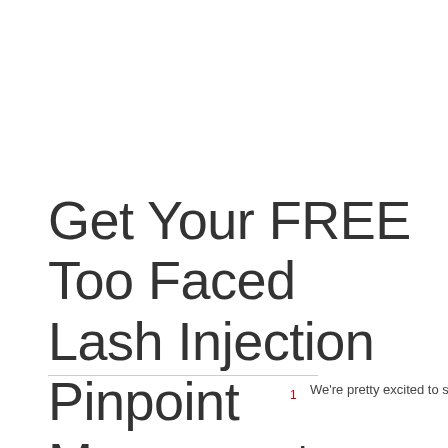Get Your FREE Too Faced Lash Injection Pinpoint Mascara at Sephora in JCPenney
We're pretty excited to show